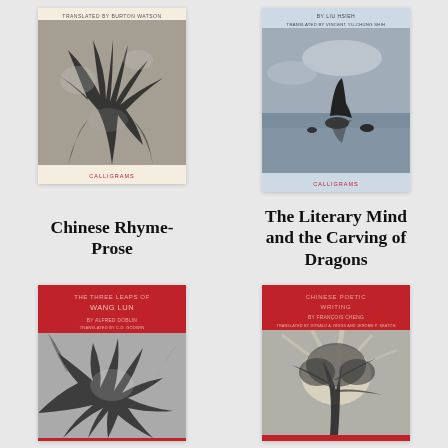[Figure (illustration): Book cover: Chinese Rhyme-Prose, translated by Burton Watson. Peach/cream background with black-and-white photo of tree branches. Publisher: Calligrams.]
[Figure (illustration): Book cover: The Literary Mind and the Carving of Dragons, by Liu Hsieh, translated by Vincent Yu-chung Shih. Light blue background with black-and-white photo of whale fin in ocean. Publisher: Calligrams.]
Chinese Rhyme-Prose
The Literary Mind and the Carving of Dragons
[Figure (illustration): Book cover: The Three Leaps of Wang Lun, by Alfred Döblin, translated by C.D. Godwin. Red background with black-and-white photo of tangled branches/roots.]
[Figure (illustration): Book cover: Chinese Poetic Writing, by François Cheng, translated by Donald A. Riggs and Jerome P. Seaton. Red background with black-and-white photo of tree with light.]